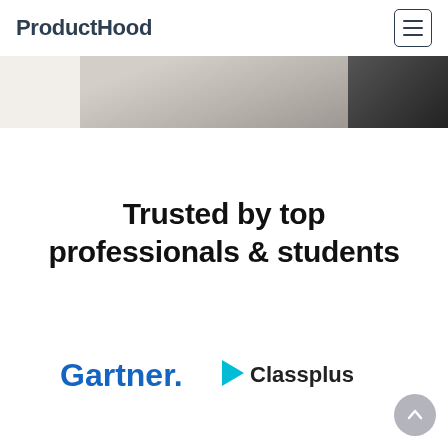ProductHood
[Figure (photo): Partial cropped photo showing a person, visible from the top portion, with light background]
Trusted by top professionals & students
[Figure (logo): Gartner logo in blue text]
[Figure (logo): Classplus logo with teal arrow icon and dark text]